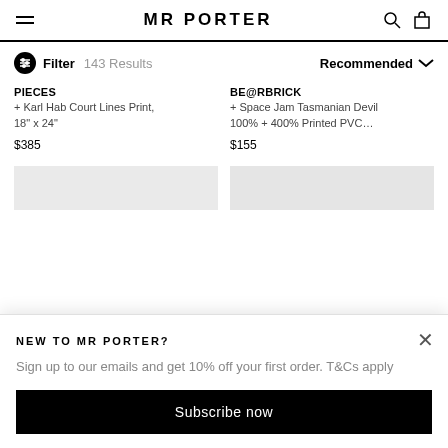MR PORTER
Filter  143 Results    Recommended
PIECES
+ Karl Hab Court Lines Print, 18" x 24"
$385
BE@RBRICK
+ Space Jam Tasmanian Devil 100% + 400% Printed PVC…
$155
NEW TO MR PORTER?
Sign up to our emails and get 10% off your first order. T&Cs apply
Subscribe now